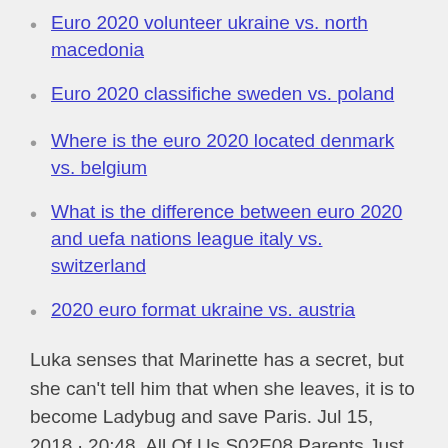Euro 2020 volunteer ukraine vs. north macedonia
Euro 2020 classifiche sweden vs. poland
Where is the euro 2020 located denmark vs. belgium
What is the difference between euro 2020 and uefa nations league italy vs. switzerland
2020 euro format ukraine vs. austria
Luka senses that Marinette has a secret, but she can't tell him that when she leaves, it is to become Ladybug and save Paris. Jul 15, 2018 · 20:48. All Of Us S02E08 Parents Just Don't Understand.